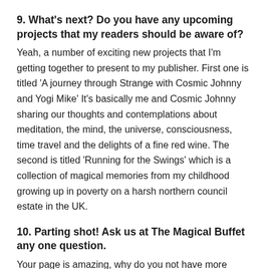9. What's next? Do you have any upcoming projects that my readers should be aware of?
Yeah, a number of exciting new projects that I'm getting together to present to my publisher. First one is titled 'A journey through Strange with Cosmic Johnny and Yogi Mike' It's basically me and Cosmic Johnny sharing our thoughts and contemplations about meditation, the mind, the universe, consciousness, time travel and the delights of a fine red wine. The second is titled 'Running for the Swings' which is a collection of magical memories from my childhood growing up in poverty on a harsh northern council estate in the UK.
10. Parting shot! Ask us at The Magical Buffet any one question.
Your page is amazing, why do you not have more followers?!